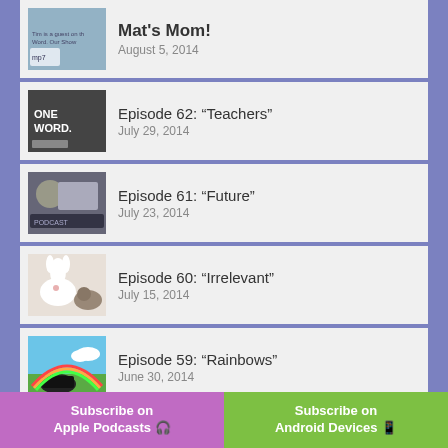Mat's Mom! — August 5, 2014
Episode 62: “Teachers” — July 29, 2014
Episode 61: “Future” — July 23, 2014
Episode 60: “Irrelevant” — July 15, 2014
Episode 59: “Rainbows” — June 30, 2014
Episode 58: “Accident” — June 23, 2014
Subscribe on Apple Podcasts | Subscribe on Android Devices